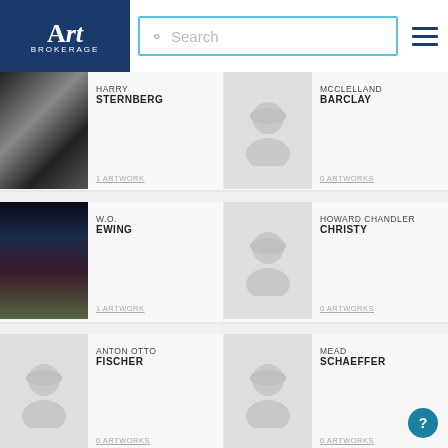Art Brokerage | Search
HARRY STERNBERG
1 ARTWORK
MCCLELLAND BARCLAY
0 ARTWORKS
W.O. EWING
1 ARTWORK
HOWARD CHANDLER CHRISTY
0 ARTWORKS
ANTON OTTO FISCHER
0 ARTWORKS
MEAD SCHAEFFER
0 ARTWORKS